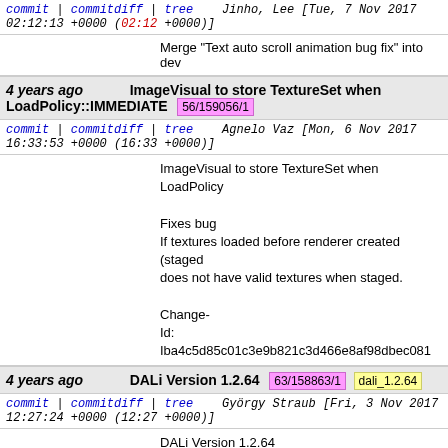commit | commitdiff | tree   Jinho, Lee [Tue, 7 Nov 2017 02:12:13 +0000 (02:12 +0000)]
Merge "Text auto scroll animation bug fix" into dev
4 years ago   ImageVisual to store TextureSet when LoadPolicy::IMMEDIATE  56/159056/1
commit | commitdiff | tree   Agnelo Vaz [Mon, 6 Nov 2017 16:33:53 +0000 (16:33 +0000)]
ImageVisual to store TextureSet when LoadPolicy

Fixes bug
If textures loaded before renderer created (staged does not have valid textures when staged.

Change-
Id: Iba4c5d85c01c3e9b821c3d466e8af98dbec081
4 years ago   DALi Version 1.2.64  63/158863/1  dali_1.2.64
commit | commitdiff | tree   György Straub [Fri, 3 Nov 2017 12:27:24 +0000 (12:27 +0000)]
DALi Version 1.2.64

Change-